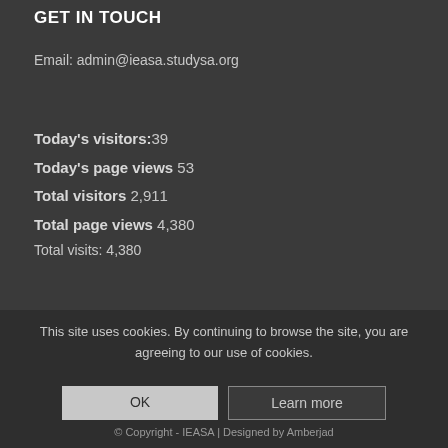GET IN TOUCH
Email: admin@ieasa.studysa.org
Today's visitors:39
Today's page views 53
Total visitors 2,911
Total page views 4,380
Total visits: 4,380
This site uses cookies. By continuing to browse the site, you are agreeing to our use of cookies.
OK
Learn more
© Copyright - IEASA | Designed by Amberjad